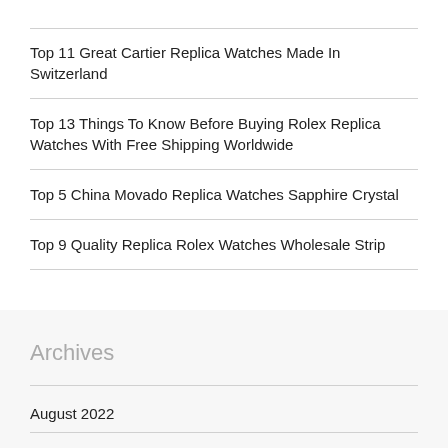Top 11 Great Cartier Replica Watches Made In Switzerland
Top 13 Things To Know Before Buying Rolex Replica Watches With Free Shipping Worldwide
Top 5 China Movado Replica Watches Sapphire Crystal
Top 9 Quality Replica Rolex Watches Wholesale Strip
Archives
August 2022